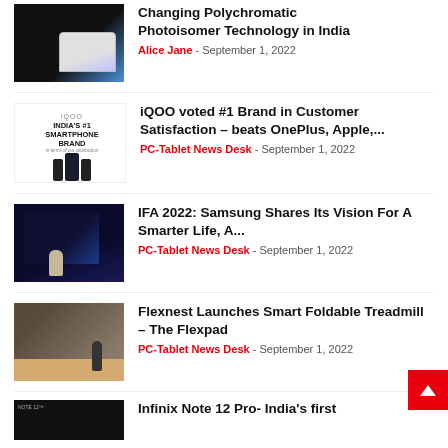[Figure (photo): Smartphone edge photo on dark background with blue/purple gradient]
Changing Polychromatic Photoisomer Technology in India
Alice Jane - September 1, 2022
[Figure (photo): iQOO India's #1 Smartphone Brand product image with phones]
iQOO voted #1 Brand in Customer Satisfaction – beats OnePlus, Apple,...
PC-Tablet News Desk - September 1, 2022
[Figure (photo): IFA 2022 Samsung presentation stage with presenter and large screen]
IFA 2022: Samsung Shares Its Vision For A Smarter Life, A...
PC-Tablet News Desk - September 1, 2022
[Figure (photo): Person using Flexpad treadmill in a modern room]
Flexnest Launches Smart Foldable Treadmill – The Flexpad
PC-Tablet News Desk - September 1, 2022
[Figure (photo): Infinix Note 12 Pro phone image]
Infinix Note 12 Pro- India's first